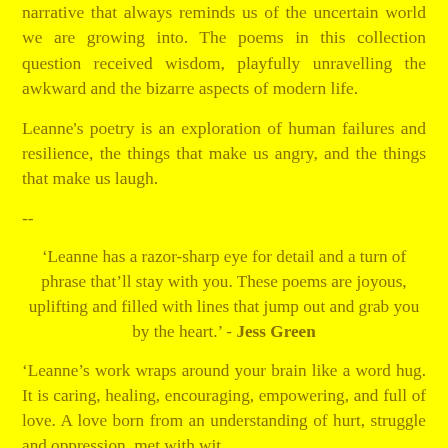narrative that always reminds us of the uncertain world we are growing into. The poems in this collection question received wisdom, playfully unravelling the awkward and the bizarre aspects of modern life.
Leanne's poetry is an exploration of human failures and resilience, the things that make us angry, and the things that make us laugh.
--
‘Leanne has a razor-sharp eye for detail and a turn of phrase that’ll stay with you. These poems are joyous, uplifting and filled with lines that jump out and grab you by the heart.’ - Jess Green
‘Leanne’s work wraps around your brain like a word hug. It is caring, healing, encouraging, empowering, and full of love. A love born from an understanding of hurt, struggle and oppression, met with wit